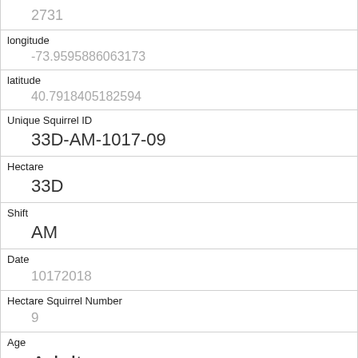| Field | Value |
| --- | --- |
|  | 2731 |
| longitude | -73.9595886063173 |
| latitude | 40.7918405182594 |
| Unique Squirrel ID | 33D-AM-1017-09 |
| Hectare | 33D |
| Shift | AM |
| Date | 10172018 |
| Hectare Squirrel Number | 9 |
| Age | Adult |
| Primary Fur Color | Black |
| Highlight Fur Color | Cinnamon |